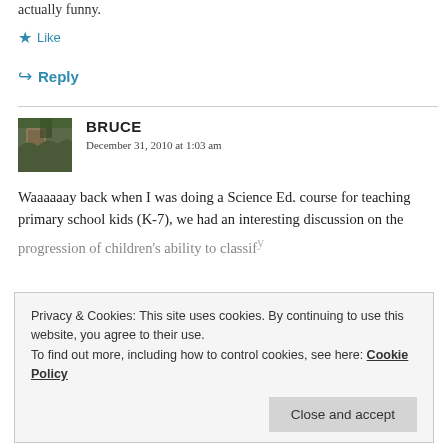actually funny.
★ Like
↳ Reply
[Figure (photo): Avatar photo of a wooded path or outdoor scene, used as commenter profile picture for BRUCE]
BRUCE
December 31, 2010 at 1:03 am
Waaaaaay back when I was doing a Science Ed. course for teaching primary school kids (K-7), we had an interesting discussion on the progression of children's ability to classify
Privacy & Cookies: This site uses cookies. By continuing to use this website, you agree to their use.
To find out more, including how to control cookies, see here: Cookie Policy
Close and accept
it types)